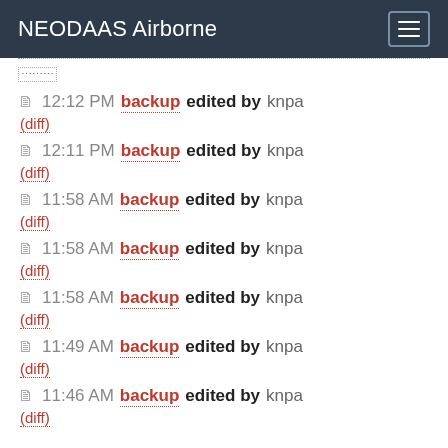NEODAAS Airborne
12:12 PM backup edited by knpa (diff)
12:11 PM backup edited by knpa (diff)
11:58 AM backup edited by knpa (diff)
11:58 AM backup edited by knpa (diff)
11:58 AM backup edited by knpa (diff)
11:49 AM backup edited by knpa (diff)
11:46 AM backup edited by knpa (diff)